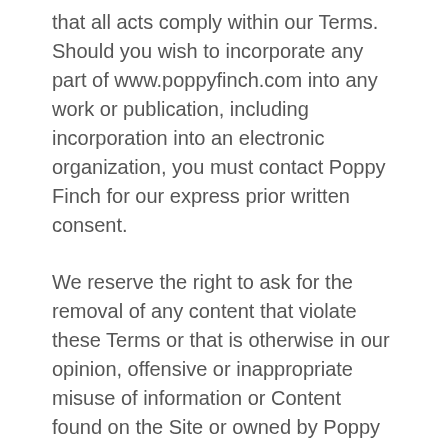that all acts comply within our Terms. Should you wish to incorporate any part of www.poppyfinch.com into any work or publication, including incorporation into an electronic organization, you must contact Poppy Finch for our express prior written consent.
We reserve the right to ask for the removal of any content that violate these Terms or that is otherwise in our opinion, offensive or inappropriate misuse of information or Content found on the Site or owned by Poppy Finch.
You acknowledge and agree that Poppy Finch, in its sole discretion and without notice or any further obligation to you, may temporarily or permanently suspend or discontinue and refuse any and all current and future, access to or use of the Site. You agree that we will not